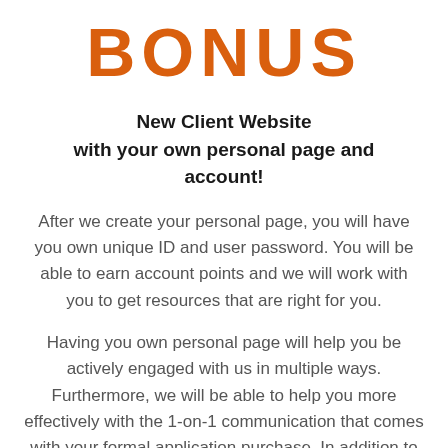BONUS
New Client Website with your own personal page and account!
After we create your personal page, you will have you own unique ID and user password. You will be able to earn account points and we will work with you to get resources that are right for you.
Having you own personal page will help you be actively engaged with us in multiple ways. Furthermore, we will be able to help you more effectively with the 1-on-1 communication that comes with your formal application purchase. In addition to these great benefits you may check your